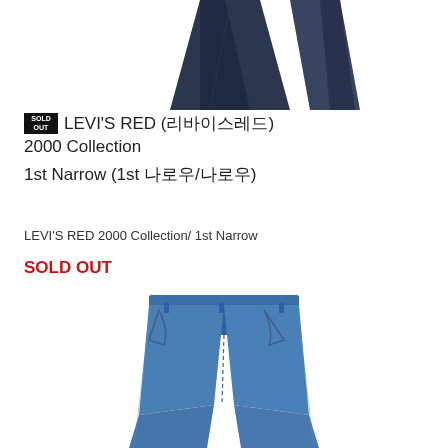[Figure (photo): Dark navy denim jeans folded/draped, showing waistband and lower legs, top portion cropped]
SOLD OUT LEVI'S RED (리바이스레드) 2000 Collection
1st Narrow (1st 나로우/나로우)
LEVI'S RED 2000 Collection/ 1st Narrow
SOLD OUT
[Figure (photo): Blue denim Levi's Red narrow jeans, full length front view on white background]